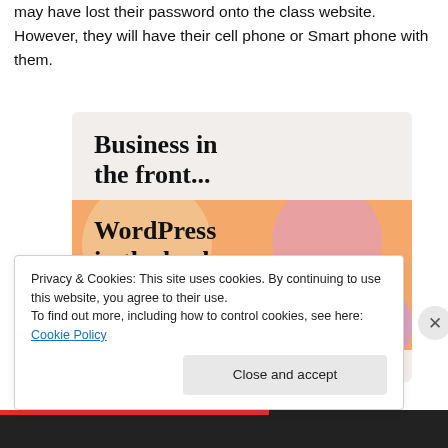may have lost their password onto the class website. However, they will have their cell phone or Smart phone with them.
[Figure (illustration): Advertisement banner: top section with light beige background reading 'Business in the front...' in bold serif font; bottom section with orange/peach gradient background and decorative circles reading 'WordPress in the back.' in bold serif font.]
Privacy & Cookies: This site uses cookies. By continuing to use this website, you agree to their use.
To find out more, including how to control cookies, see here: Cookie Policy
Close and accept